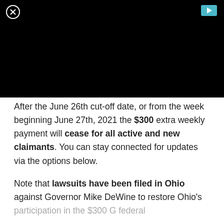[Figure (screenshot): Black video player area with close (X) button in top-left and teal play button in top-right]
After the June 26th cut-off date, or from the week beginning June 27th, 2021 the $300 extra weekly payment will cease for all active and new claimants. You can stay connected for updates via the options below.
Note that lawsuits have been filed in Ohio against Governor Mike DeWine to restore Ohio's participation in the $300 G federal